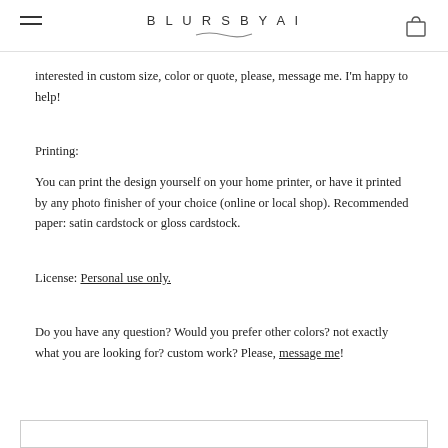BLURSBYAI
interested in custom size, color or quote, please, message me. I'm happy to help!
Printing:
You can print the design yourself on your home printer, or have it printed by any photo finisher of your choice (online or local shop). Recommended paper: satin cardstock or gloss cardstock.
License: Personal use only.
Do you have any question? Would you prefer other colors? not exactly what you are looking for? custom work? Please, message me!